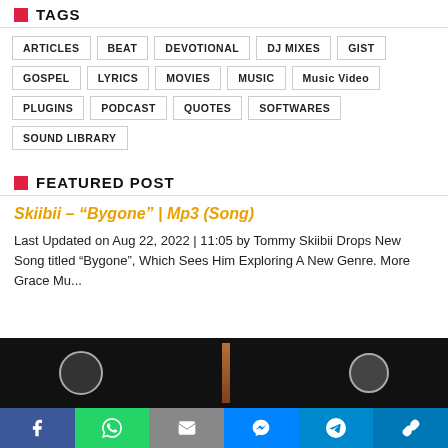TAGS
ARTICLES
BEAT
DEVOTIONAL
DJ MIXES
GIST
GOSPEL
LYRICS
MOVIES
MUSIC
Music Video
PLUGINS
PODCAST
QUOTES
SOFTWARES
SOUND LIBRARY
FEATURED POST
Skiibii – “Bygone” | Mp3 (Song)
Last Updated on Aug 22, 2022 | 11:05 by Tommy Skiibii Drops New Song titled “Bygone”, Which Sees Him Exploring A New Genre. More Grace Mu...
[Figure (photo): Dark background image with circular logo and vertical bar element]
[Figure (other): Social media share bar with Facebook, WhatsApp, Email, Messenger, Telegram, and link buttons]